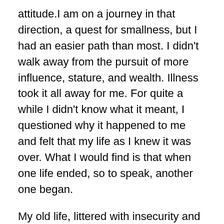attitude.I am on a journey in that direction, a quest for smallness, but I had an easier path than most. I didn't walk away from the pursuit of more influence, stature, and wealth. Illness took it all away for me. For quite a while I didn't know what it meant, I questioned why it happened to me and felt that my life as I knew it was over. What I would find is that when one life ended, so to speak, another one began.
My old life, littered with insecurity and doubt was made no better by the pursuit of big things, in my new life I have found it to be all about the simple and the real. It happened when I stopped trying to control everything. It can't be done.
No man, regardless of stature is a match for the